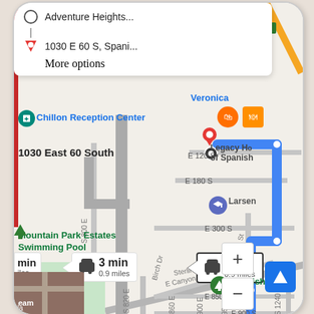[Figure (screenshot): Google Maps screenshot showing driving directions from Adventure Heights to 1030 E 60 S, Spanish Fork. Two route options shown: 3 min / 0.9 miles and 2 min / 0.9 miles. The blue highlighted route goes south along a main road then turns to the destination. Map shows streets including E 120 S, E 180 S, E 300 S, E 850 S St, E Canyon Rd, Sterling Dr, Nebo St, S 800 E, S 820 E, S 860 E, S 900 E, S 950 E. Points of interest include Chillon Reception Center, Legacy Health of Spanish, Larsen, Mountain Park Estates Swimming Pool, Spanish (fork). Search panel at top shows origin 'Adventure Heights...' and destination '1030 E 60 S, Spani...' with 'More options' link. Map controls: zoom in (+), zoom out (−), and north-up compass button.]